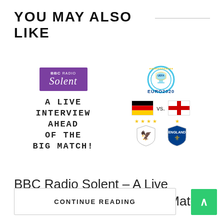YOU MAY ALSO LIKE
[Figure (illustration): BBC Radio Solent logo with purple background and text 'A LIVE INTERVIEW AHEAD OF THE BIG MATCH!' on the left, Euro 2020 logo with Germany vs England flags and team crests on the right]
BBC Radio Solent – A Live Interview Ahead of the Big Match!
CONTINUE READING